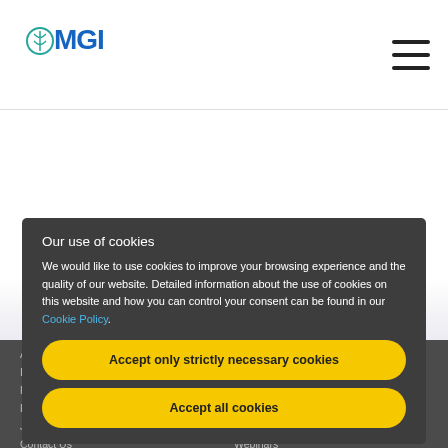[Figure (logo): MGI logo with DNA helix icon in teal/blue and 'MGI' text in blue]
[Figure (other): Hamburger menu icon (three horizontal lines)]
Our use of cookies
We would like to use cookies to improve your browsing experience and the quality of our website. Detailed information about the use of cookies on this website and how you can control your consent can be found in our Cookie Policy.
Accept only strictly necessary cookies
Accept all cookies
Introduction
Instruments
Regions
Reactants
Hours
Package
Jobs
Contact Us
Service
Webinars